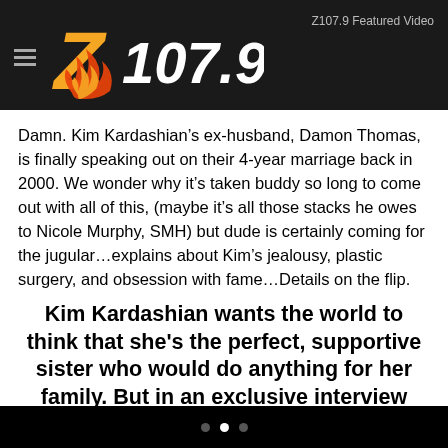Z107.9  Z107.9 Featured Video
Damn. Kim Kardashian’s ex-husband, Damon Thomas, is finally speaking out on their 4-year marriage back in 2000. We wonder why it’s taken buddy so long to come out with all of this, (maybe it’s all those stacks he owes to Nicole Murphy, SMH) but dude is certainly coming for the jugular…explains about Kim’s jealousy, plastic surgery, and obsession with fame…Details on the flip.
Kim Kardashian wants the world to think that she's the perfect, supportive sister who would do anything for her family. But in an exclusive interview with In Touch, Kim's ex-husband says that behind closed